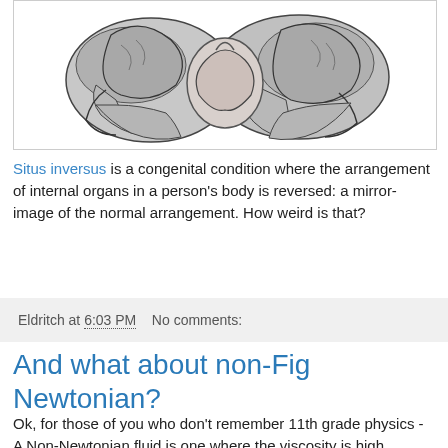[Figure (illustration): Black and white medical illustration of internal organs (lungs/thoracic cavity) shown from the front, depicting situs inversus arrangement.]
Situs inversus is a congenital condition where the arrangement of internal organs in a person's body is reversed: a mirror-image of the normal arrangement. How weird is that?
Eldritch at 6:03 PM    No comments:
And what about non-Fig Newtonian?
Ok, for those of you who don't remember 11th grade physics - A Non-Newtonian fluid is one where the viscosity is high enough to overcome the stress put upon it; stirring it leads to whirlpools even after you remove the spoon.